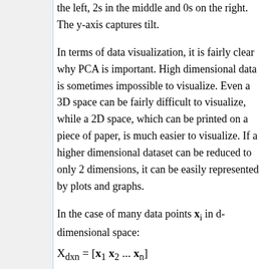the left, 2s in the middle and 0s on the right. The y-axis captures tilt.
In terms of data visualization, it is fairly clear why PCA is important. High dimensional data is sometimes impossible to visualize. Even a 3D space can be fairly difficult to visualize, while a 2D space, which can be printed on a piece of paper, is much easier to visualize. If a higher dimensional dataset can be reduced to only 2 dimensions, it can be easily represented by plots and graphs.
In the case of many data points x_i in d-dimensional space:
There is an infinite amount of vectors in \real^p to